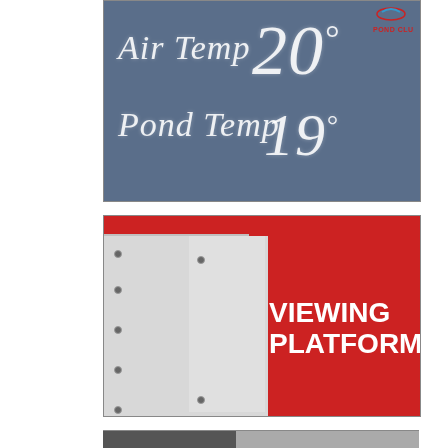[Figure (photo): Chalkboard sign at a Pond Club showing handwritten chalk text: 'Air Temp 20°' and 'Pond Temp 19°', with a Pond Club logo in the top right corner.]
[Figure (photo): Outdoor photo showing white wooden panels/boards leaning against a structure, with a red banner in the background reading 'VIEWING PLATFORM' in white bold text.]
[Figure (photo): Partial view of a third photo, mostly cut off at the bottom of the page, showing a dark and light grey outdoor scene.]